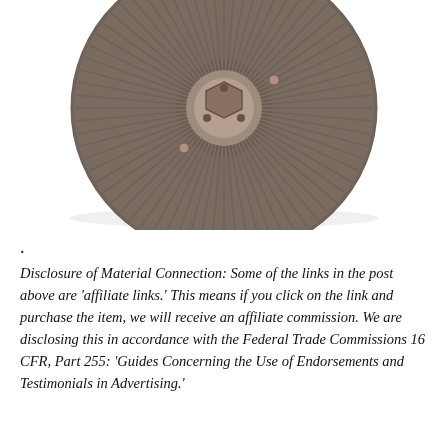[Figure (photo): Close-up photograph of a worn fan clutch (circular finned metal part with central hub and bolts), photographed from above on a white background.]
.
Disclosure of Material Connection: Some of the links in the post above are ‘affiliate links.’ This means if you click on the link and purchase the item, we will receive an affiliate commission. We are disclosing this in accordance with the Federal Trade Commissions 16 CFR, Part 255: ‘Guides Concerning the Use of Endorsements and Testimonials in Advertising.’